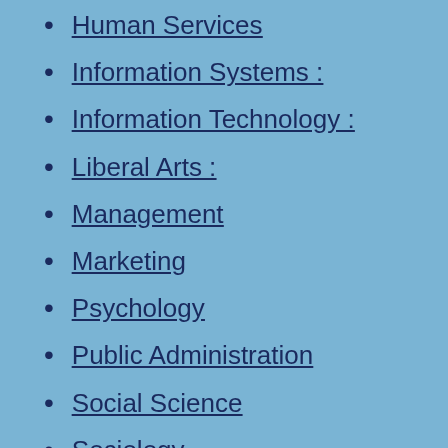Human Services
Information Systems :
Information Technology :
Liberal Arts :
Management
Marketing
Psychology
Public Administration
Social Science
Sociology
Master's Degrees